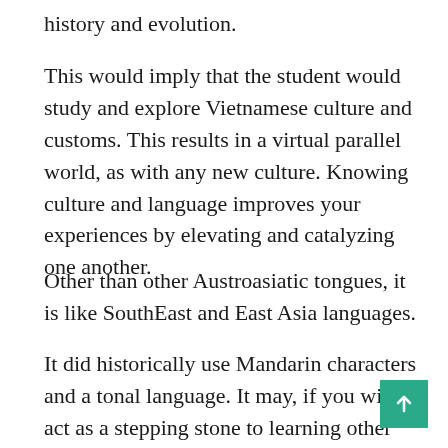history and evolution.
This would imply that the student would study and explore Vietnamese culture and customs. This results in a virtual parallel world, as with any new culture. Knowing culture and language improves your experiences by elevating and catalyzing one another.
Other than other Austroasiatic tongues, it is like SouthEast and East Asia languages.
It did historically use Mandarin characters and a tonal language. It may, if you wish, act as a stepping stone to learning other East Asia